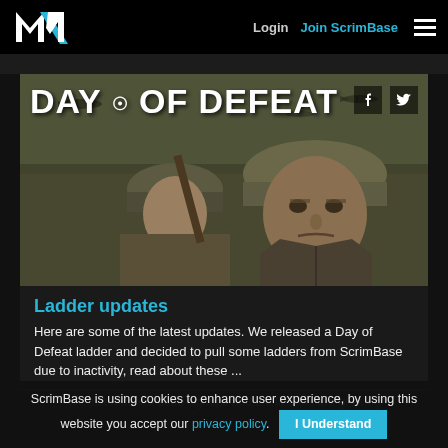Login  Join ScrimBase  ☰
[Figure (illustration): Day of Defeat game banner showing two WWII soldiers, one in the foreground with a stern expression wearing a helmet, another behind with a rifle. Aircraft fly in the background. Title text reads DAY OF DEFEAT with Facebook and Twitter icons.]
Ladder updates
Here are some of the latest updates. We released a Day of Defeat ladder and decided to pull some ladders from ScrimBase due to inactivity, read about these ...
We just reached 1000 signups and the ladders are growing
ScrimBase is using cookies to enhance user experience, by using this website you accept our privacy policy.  I Understand